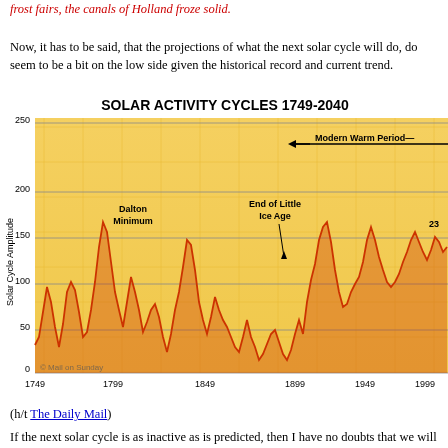frost fairs, the canals of Holland froze solid.
Now, it has to be said, that the projections of what the next solar cycle will do, do seem to be a bit on the low side given the historical record and current trend.
[Figure (continuous-plot): Line chart showing solar cycle amplitude from 1749 to 2040. Y-axis labeled 'Solar Cycle Amplitude' ranges from 0 to 250. X-axis shows years 1749, 1799, 1849, 1899, 1949, 1999. Annotations: 'Dalton Minimum', 'End of Little Ice Age', 'Modern Warm Period', cycle number '23'. Background is yellow/golden gradient. Waveform in dark orange showing peaks and troughs of solar cycles with increasing amplitude over time.]
(h/t The Daily Mail)
If the next solar cycle is as inactive as is predicted, then I have no doubts that we will see some significant cooling, but it doesn't even have to be that low for there to